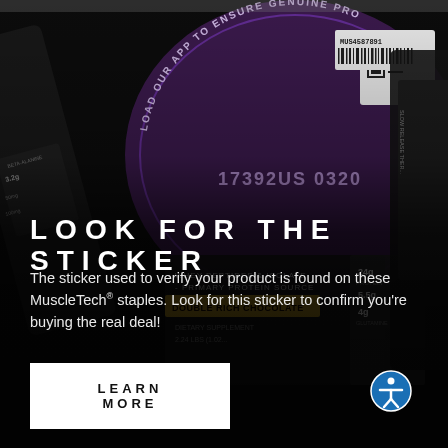[Figure (photo): Dark background photo of various MuscleTech supplement containers and product labels, including a purple authentication sticker with QR code and barcode reading 'MUS4587891' and '17392US 0320', text reading 'LOAD OUR APP TO ENSURE GENUINE PRO', and product labels showing 'WHEY PEPTIDES & ISOLATE - PRIMARY PROTEIN SOURCE', 'DOUBLE RICH CHOCOLATE', '2.24 LBS (1.02...', '24g PROTEIN', '5.5g', '4g GLUTAMINE', 'DIETARY SUPPLEMENT', 'SLOW RELEASE THER...', 'BETA-ALANINE', 'TYROSINE']
LOOK FOR THE STICKER
The sticker used to verify your product is found on these MuscleTech® staples. Look for this sticker to confirm you're buying the real deal!
LEARN MORE